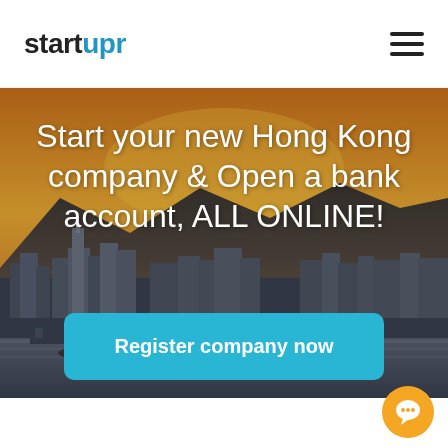startupr
[Figure (photo): Hong Kong city skyline at sunset with golden sky and mountains in background, harbor with boats visible]
Start your new Hong Kong company & Open a bank account, ALL ONLINE!
Register company now